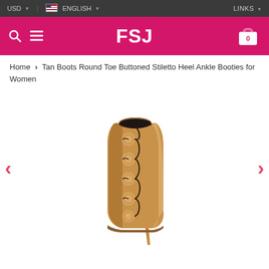USD  |  ENGLISH  |  LINKS
[Figure (screenshot): FSJ shoes website navigation bar with pink background, FSJ logo in white, search icon, hamburger menu, and shopping bag icon with 0 count]
Home > Tan Boots Round Toe Buttoned Stiletto Heel Ankle Booties for Women
[Figure (photo): Tan/caramel colored stiletto ankle bootie with round toe, featuring five decorative buttons along the side connected by black cord/rope lacing. The boot has a very high thin stiletto heel and is photographed against a white background.]